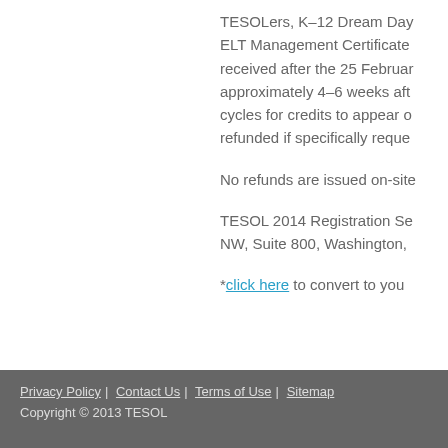TESOLers, K–12 Dream Day ELT Management Certificate received after the 25 February approximately 4–6 weeks after cycles for credits to appear on refunded if specifically requested.

No refunds are issued on-site.

TESOL 2014 Registration Se NW, Suite 800, Washington,

*click here to convert to your
Privacy Policy | Contact Us | Terms of Use | Sitemap
Copyright © 2013 TESOL